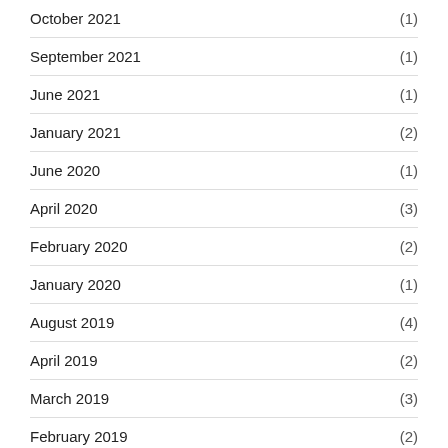October 2021 (1)
September 2021 (1)
June 2021 (1)
January 2021 (2)
June 2020 (1)
April 2020 (3)
February 2020 (2)
January 2020 (1)
August 2019 (4)
April 2019 (2)
March 2019 (3)
February 2019 (2)